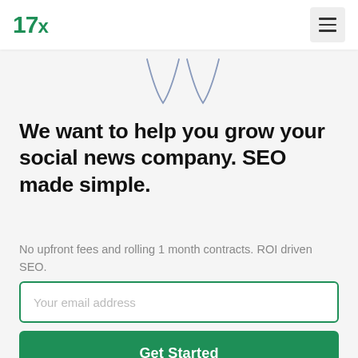17x
[Figure (illustration): Partial illustration showing two V-shaped line art elements resembling inverted arches or abstract figures, in a light purple/slate outline style, visible at the top center of the page below the navigation bar.]
We want to help you grow your social news company. SEO made simple.
No upfront fees and rolling 1 month contracts. ROI driven SEO.
Your email address
Get Started